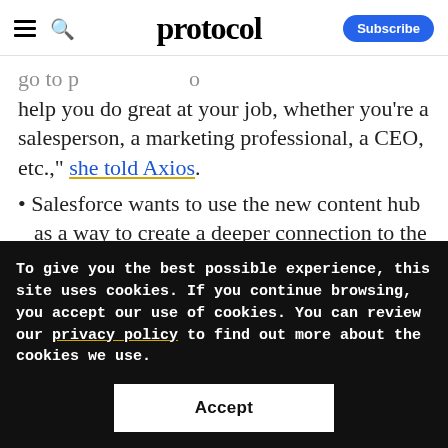protocol
…go to help you do great at your job, whether you're a salesperson, a marketing professional, a CEO, etc.," she told Axios.
Salesforce wants to use the new content hub as a way to create a deeper connection to the brand to encourage
To give you the best possible experience, this site uses cookies. If you continue browsing, you accept our use of cookies. You can review our privacy policy to find out more about the cookies we use.
Accept